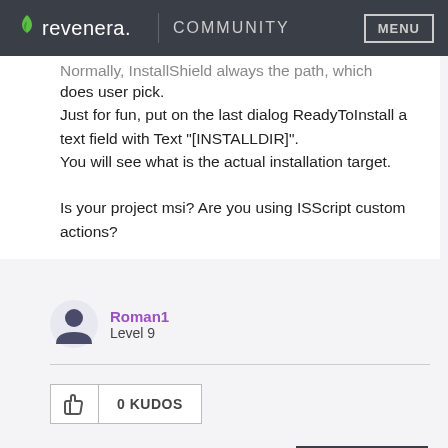revenera. COMMUNITY MENU
Normally, InstallShield always the path, which does user pick.
Just for fun, put on the last dialog ReadyToInstall a text field with Text "[INSTALLDIR]".
You will see what is the actual installation target.

Is your project msi? Are you using ISScript custom actions?
Roman1
Level 9
0 KUDOS
REPLY